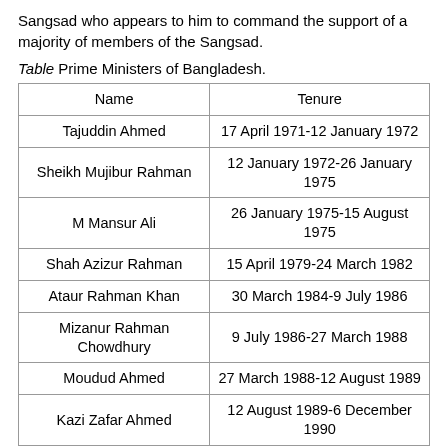Sangsad who appears to him to command the support of a majority of members of the Sangsad.
Table Prime Ministers of Bangladesh.
| Name | Tenure |
| --- | --- |
| Tajuddin Ahmed | 17 April 1971-12 January 1972 |
| Sheikh Mujibur Rahman | 12 January 1972-26 January 1975 |
| M Mansur Ali | 26 January 1975-15 August 1975 |
| Shah Azizur Rahman | 15 April 1979-24 March 1982 |
| Ataur Rahman Khan | 30 March 1984-9 July 1986 |
| Mizanur Rahman Chowdhury | 9 July 1986-27 March 1988 |
| Moudud Ahmed | 27 March 1988-12 August 1989 |
| Kazi Zafar Ahmed | 12 August 1989-6 December 1990 |